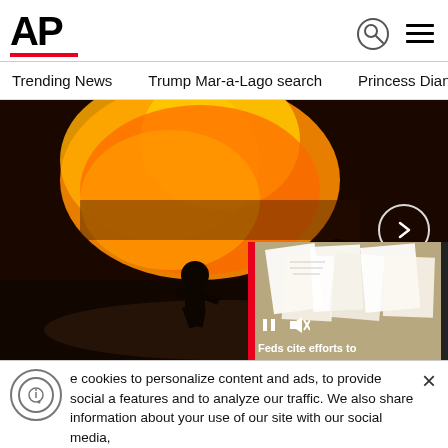[Figure (logo): AP (Associated Press) logo with bold black AP text and red underline bar]
Trending News    Trump Mar-a-Lago search    Princess Diana's dea
[Figure (photo): Firefighters silhouetted against large flames at night, working at a fire scene]
[Figure (screenshot): Floating video overlay showing documents, with controls and caption 'Feds cite efforts to']
e cookies to personalize content and ads, to provide social a features and to analyze our traffic. We also share information about your use of our site with our social media,